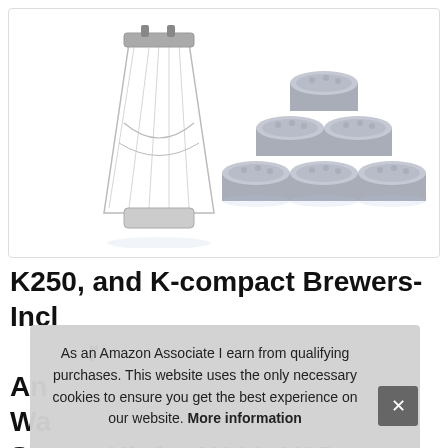[Figure (photo): Product photo showing a clear plastic water filter holder/reservoir and six charcoal water filter pods arranged in a pyramid shape on a white background]
K250, and K-compact Brewers- Includes Rear Reservoir Filter Holder And... Water... Starter Kit for K200, K25...
As an Amazon Associate I earn from qualifying purchases. This website uses the only necessary cookies to ensure you get the best experience on our website. More information